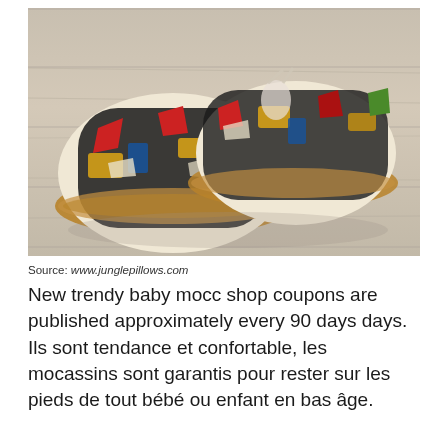[Figure (photo): A pair of patterned baby moccasins with colorful aztec/graphic print design on a light wooden surface. The shoes have leather soles and feature bold red, gold, black, blue and green patterns.]
Source: www.junglepillows.com
New trendy baby mocc shop coupons are published approximately every 90 days days. Ils sont tendance et confortable, les mocassins sont garantis pour rester sur les pieds de tout bébé ou enfant en bas âge.